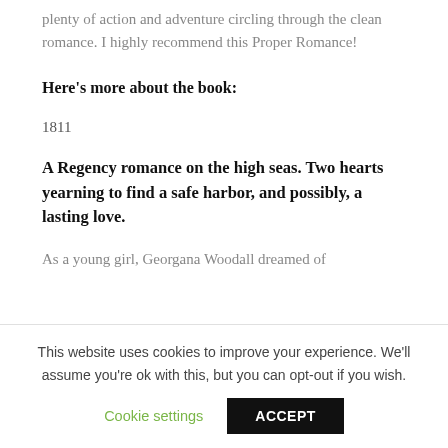plenty of action and adventure circling through the clean romance. I highly recommend this Proper Romance!
Here's more about the book:
1811
A Regency romance on the high seas. Two hearts yearning to find a safe harbor, and possibly, a lasting love.
As a young girl, Georgana Woodall dreamed of
This website uses cookies to improve your experience. We'll assume you're ok with this, but you can opt-out if you wish.
Cookie settings
ACCEPT